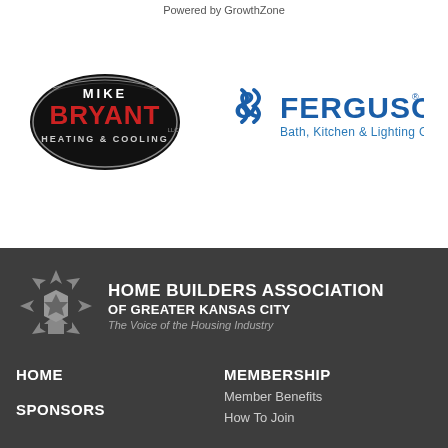Powered by GrowthZone
[Figure (logo): Mike Bryant Heating & Cooling logo - oval black badge with red BRYANT text]
[Figure (logo): Ferguson Bath, Kitchen & Lighting Gallery logo - blue text with double-S chevron mark]
[Figure (logo): Home Builders Association of Greater Kansas City snowflake/house icon logo]
HOME BUILDERS ASSOCIATION OF GREATER KANSAS CITY
The Voice of the Housing Industry
HOME
SPONSORS
MEMBERSHIP
Member Benefits
How To Join